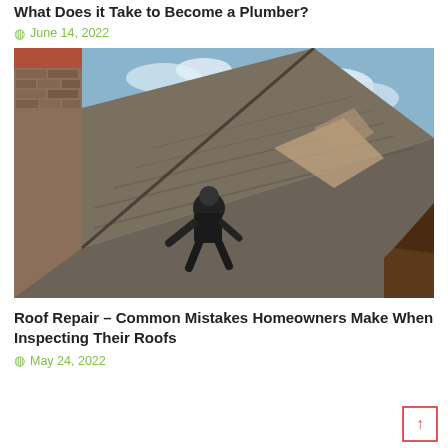What Does it Take to Become a Plumber?
June 14, 2022
[Figure (photo): A worker on a residential roof performing roof repair, with a brick chimney visible on the left side and a blue sky in the background.]
Roof Repair – Common Mistakes Homeowners Make When Inspecting Their Roofs
May 24, 2022